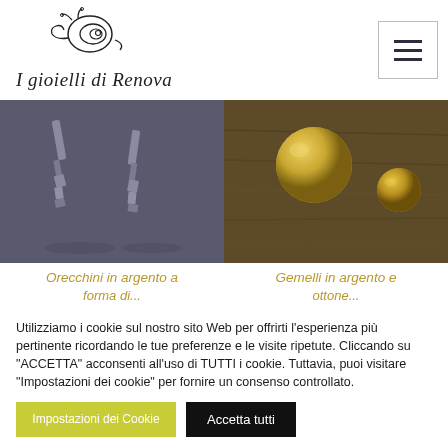[Figure (logo): Handwritten script logo reading 'I gioielli di Ренova' with a decorative snail/spiral illustration above]
[Figure (photo): Two product photos side by side: left shows silver earrings on dark background, right shows silver and brass cufflinks on wooden surface]
Orecchini in argento a
Gemelli in argento e
Utilizziamo i cookie sul nostro sito Web per offrirti l'esperienza più pertinente ricordando le tue preferenze e le visite ripetute. Cliccando su "ACCETTA" acconsenti all'uso di TUTTI i cookie. Tuttavia, puoi visitare "Impostazioni dei cookie" per fornire un consenso controllato.
Impostazioni dei Cookie
Accetta tutti